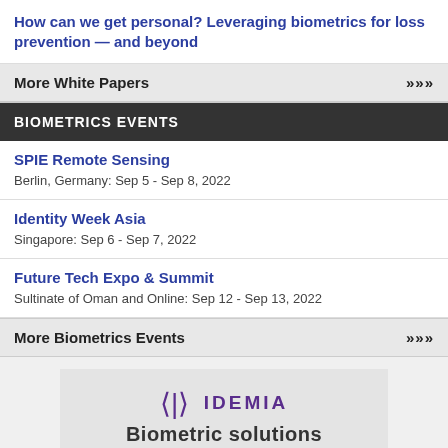How can we get personal? Leveraging biometrics for loss prevention — and beyond
More White Papers
BIOMETRICS EVENTS
SPIE Remote Sensing
Berlin, Germany: Sep 5 - Sep 8, 2022
Identity Week Asia
Singapore: Sep 6 - Sep 7, 2022
Future Tech Expo & Summit
Sultinate of Oman and Online: Sep 12 - Sep 13, 2022
More Biometrics Events
[Figure (logo): IDEMIA logo with stylized bracket icon and text 'IDEMIA', followed by partial text 'Biometric solutions']